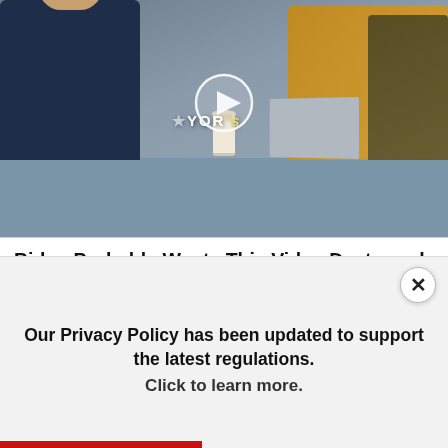[Figure (screenshot): Video thumbnail showing people seated at a table in a news studio, with a play button overlay and 'YOR' text visible]
Biden Probably Wants This Video Destroyed — US Dollar On Path Towards Replacement?
🔥 104,034
[Figure (screenshot): Second video thumbnail showing a vehicle or RV in a pale sandy outdoor scene]
Our Privacy Policy has been updated to support the latest regulations. Click to learn more.